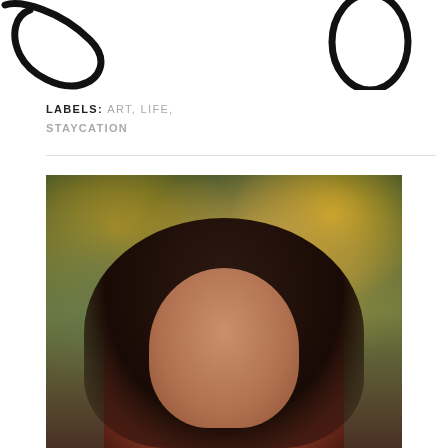[Figure (illustration): Partial decorative script/calligraphy title text — appears to show cursive letters with a zero or letter 'o', cropped at top of page]
LABELS: ART, LIFE, STAYCATION
[Figure (photo): Portrait photograph of a young woman with long dark wavy hair, smiling, photographed outdoors with blurred green trees and warm bokeh lighting in the background]